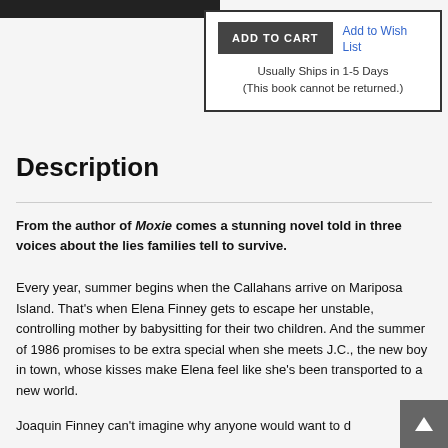[Figure (screenshot): Top black image bar partial]
ADD TO CART | Add to Wish List | Usually Ships in 1-5 Days | (This book cannot be returned.)
Description
From the author of Moxie comes a stunning novel told in three voices about the lies families tell to survive.
Every year, summer begins when the Callahans arrive on Mariposa Island. That's when Elena Finney gets to escape her unstable, controlling mother by babysitting for their two children. And the summer of 1986 promises to be extra special when she meets J.C., the new boy in town, whose kisses make Elena feel like she's been transported to a new world.
Joaquin Finney can't imagine why anyone would want to d…